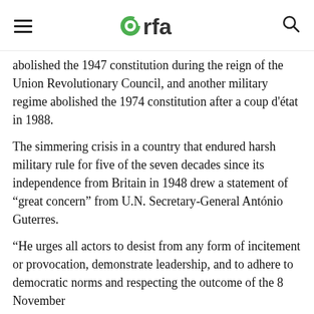rfa (Radio Free Asia logo)
abolished the 1947 constitution during the reign of the Union Revolutionary Council, and another military regime abolished the 1974 constitution after a coup d'état in 1988.
The simmering crisis in a country that endured harsh military rule for five of the seven decades since its independence from Britain in 1948 drew a statement of “great concern” from U.N. Secretary-General António Guterres.
“He urges all actors to desist from any form of incitement or provocation, demonstrate leadership, and to adhere to democratic norms and respecting the outcome of the 8 November